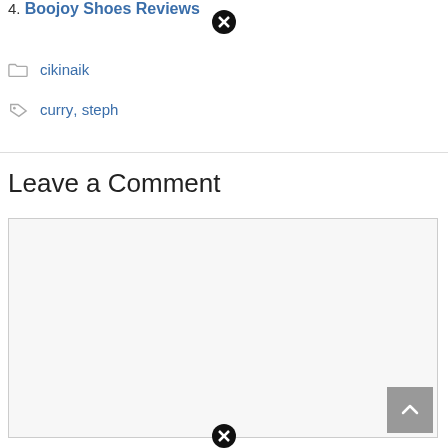4. Boojoy Shoes Reviews
cikinaik
curry, steph
Leave a Comment